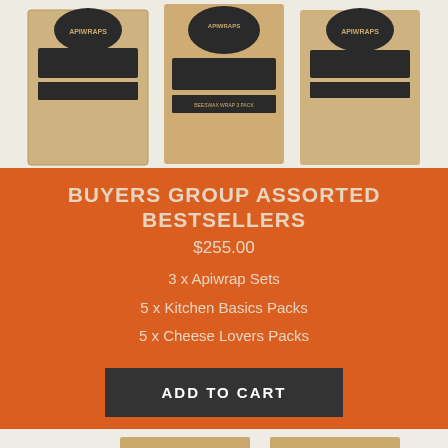[Figure (photo): Three brown kraft paper Apiwraps packages displayed against a light background]
BUYERS GROUP ASSORTED BESTSELLERS
$255.00
3 x Apiwrap Sets
5 x Kitchen Basics Packs
5 x Cheese Lovers Packs
ADD TO CART
[Figure (photo): Product packages showing beeswax wraps with green and teal striped patterns in kraft paper boxes]